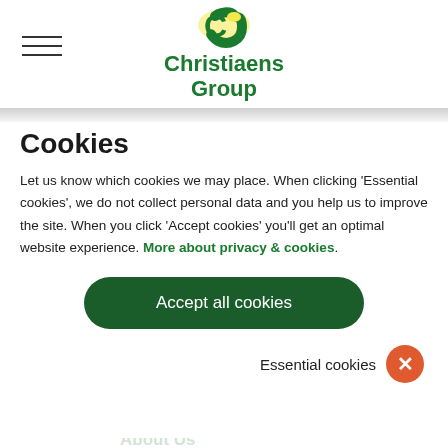[Figure (logo): Christiaens Group logo — green C icon with yellow highlight, green bold text 'Christiaens Group']
Cookies
Let us know which cookies we may place. When clicking 'Essential cookies', we do not collect personal data and you help us to improve the site. When you click 'Accept cookies' you'll get an optimal website experience. More about privacy & cookies.
Accept all cookies
Essential cookies